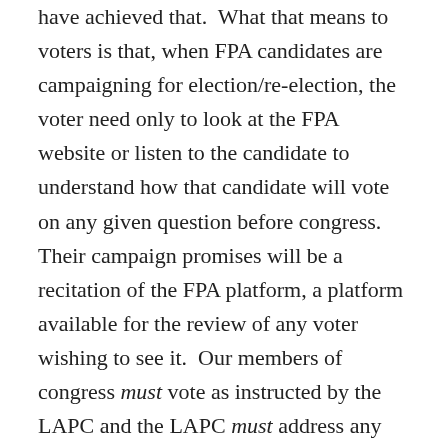have achieved that.  What that means to voters is that, when FPA candidates are campaigning for election/re-election, the voter need only to look at the FPA website or listen to the candidate to understand how that candidate will vote on any given question before congress.  Their campaign promises will be a recitation of the FPA platform, a platform available for the review of any voter wishing to see it.  Our members of congress must vote as instructed by the LAPC and the LAPC must address any legislative question with respect to its relation to the constitution and the FPA platform.  Thus, the voters will not be voting for a “personality” at election time.  Voters won’t have to stand by helplessly, hoping that their candidate acts in accordance with his/her words, hoping that they are not in aid of another organization or otherwise corrupted or compromised.  They will be voting for a platform.  The integrity of the